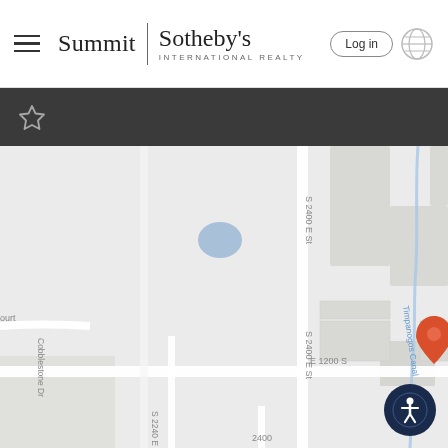Summit | Sotheby's INTERNATIONAL REALTY — Log in
[Figure (screenshot): Navigation toolbar with star/favorite icon on dark background]
[Figure (map): Google Maps view showing street map with location pins for: property (red pin), Strongeight (grey pin), Logan Painting Corporation (grey pin), A & I Mobile Home Towing (grey pin), Diamond 7 Sp (grey pin), Johm (grey pin). Streets visible: S 2400 E St, E 1200 S, S 2240 E, 2720 E, 2400. Timpanogos Canal runs through the map. Accessibility button visible in bottom right corner.]